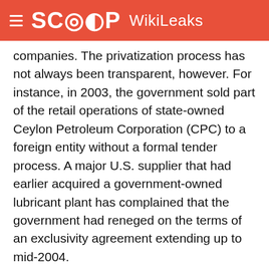SCOOP WikiLeaks
companies. The privatization process has not always been transparent, however. For instance, in 2003, the government sold part of the retail operations of state-owned Ceylon Petroleum Corporation (CPC) to a foreign entity without a formal tender process. A major U.S. supplier that had earlier acquired a government-owned lubricant plant has complained that the government had reneged on the terms of an exclusivity agreement extending up to mid-2004.
45. Access to local credit markets by foreign-owned